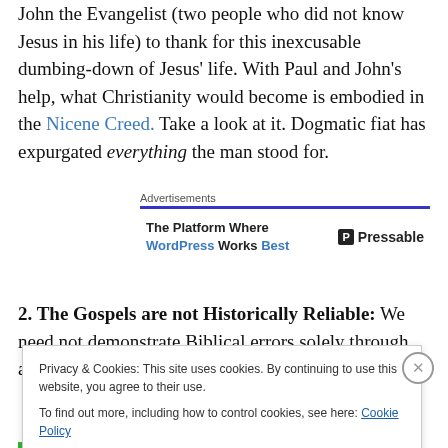John the Evangelist (two people who did not know Jesus in his life) to thank for this inexcusable dumbing-down of Jesus' life. With Paul and John's help, what Christianity would become is embodied in the Nicene Creed. Take a look at it. Dogmatic fiat has expurgated everything the man stood for.
[Figure (other): Advertisement block with blue bar header labeled 'Advertisements'. Contains text 'The Platform Where WordPress Works Best' on left and 'P Pressable' logo on right.]
2. The Gospels are not Historically Reliable: We need not demonstrate Biblical errors solely through appeals to
Privacy & Cookies: This site uses cookies. By continuing to use this website, you agree to their use. To find out more, including how to control cookies, see here: Cookie Policy